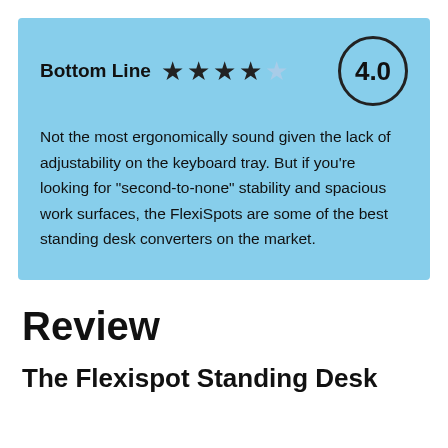Bottom Line — 4.0 stars (4 filled, 1 half)
Not the most ergonomically sound given the lack of adjustability on the keyboard tray. But if you’re looking for “second-to-none” stability and spacious work surfaces, the FlexiSpots are some of the best standing desk converters on the market.
Review
The Flexispot Standing Desk